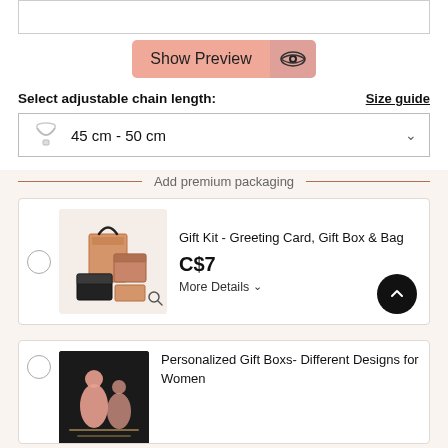[Figure (screenshot): Empty text input box at top of page]
Show Preview (with eye icon button)
Select adjustable chain length:
Size guide
45 cm - 50 cm
Add premium packaging
Gift Kit - Greeting Card, Gift Box & Bag
C$7
More Details
Personalized Gift Boxs- Different Designs for Women